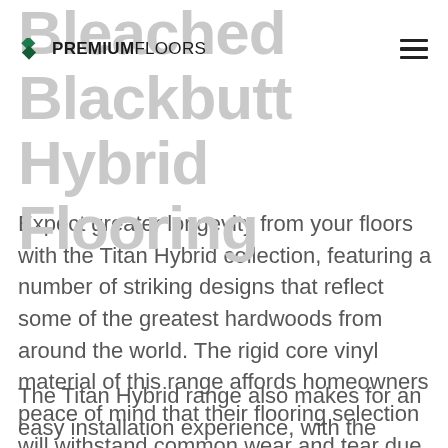Bleached Blackbutt Hybrid Flooring
PREMIUM FLOORS
Expect greater longevity from your floors with the Titan Hybrid collection, featuring a number of striking designs that reflect some of the greatest hardwoods from around the world. The rigid core vinyl material of this range affords homeowners peace of mind that their flooring selection will withstand common wear and tear due to the quality make.
The Titan Hybrid range also makes for an easy installation experience, with the innovative click planks to be laid on varied surfaces, both